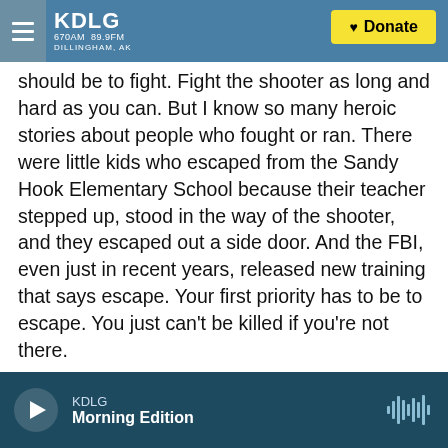KDLG 670AM 89.9FM DILLINGHAM, AK | Donate
should be to fight. Fight the shooter as long and hard as you can. But I know so many heroic stories about people who fought or ran. There were little kids who escaped from the Sandy Hook Elementary School because their teacher stepped up, stood in the way of the shooter, and they escaped out a side door. And the FBI, even just in recent years, released new training that says escape. Your first priority has to be to escape. You just can't be killed if you're not there.
PFEIFFER: Katherine, you note in your op-ed for The New York Times that your daughter is a middle
KDLG Morning Edition